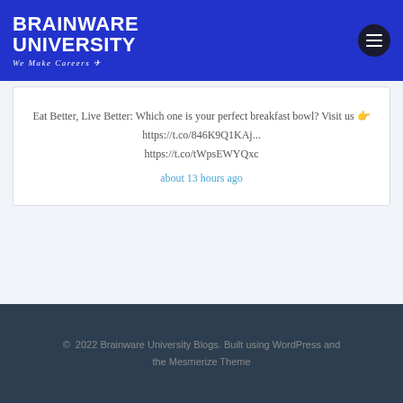BRAINWARE UNIVERSITY We Make Careers
Eat Better, Live Better: Which one is your perfect breakfast bowl? Visit us 👉 https://t.co/846K9Q1KAj... https://t.co/tWpsEWYQxc
about 13 hours ago
© 2022 Brainware University Blogs. Built using WordPress and the Mesmerize Theme